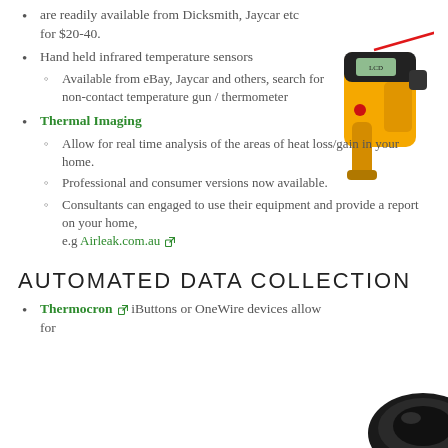are readily available from Dicksmith, Jaycar etc for $20-40.
Hand held infrared temperature sensors
Available from eBay, Jaycar and others, search for non-contact temperature gun / thermometer
[Figure (photo): Hand-held infrared thermometer gun, yellow and black with red laser beam]
Thermal Imaging
Allow for real time analysis of the areas of heat loss/gain in your home.
Professional and consumer versions now available.
Consultants can engaged to use their equipment and provide a report on your home, e.g Airleak.com.au
AUTOMATED DATA COLLECTION
Thermocron iButtons or OneWire devices allow for
[Figure (photo): Circular black sensor device, likely a Thermocron iButton]